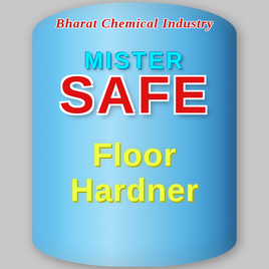[Figure (photo): A large blue cylindrical drum/container labeled Mister Safe Floor Hardner by Bharat Chemical Industry. The drum is blue with text: brand name in red italic at top, MISTER in cyan, SAFE in large red bold letters, and Floor Hardner in yellow below.]